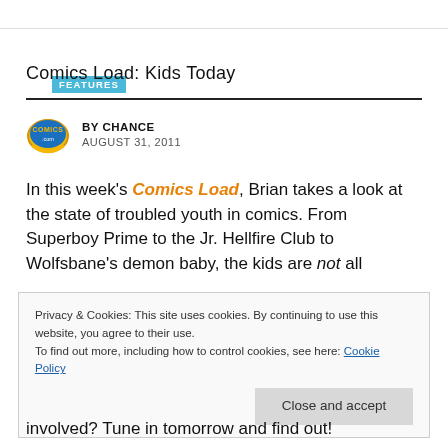FEATURES
Comics Load: Kids Today
BY CHANCE
AUGUST 31, 2011
In this week's Comics Load, Brian takes a look at the state of troubled youth in comics. From Superboy Prime to the Jr. Hellfire Club to Wolfsbane's demon baby, the kids are not all involved? Tune in tomorrow and find out!
Privacy & Cookies: This site uses cookies. By continuing to use this website, you agree to their use.
To find out more, including how to control cookies, see here: Cookie Policy